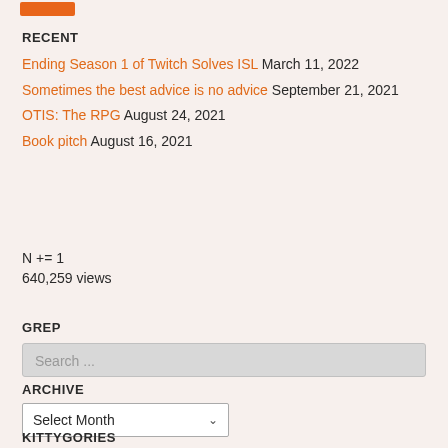RECENT
Ending Season 1 of Twitch Solves ISL March 11, 2022
Sometimes the best advice is no advice September 21, 2021
OTIS: The RPG August 24, 2021
Book pitch August 16, 2021
N += 1
640,259 views
GREP
Search ...
ARCHIVE
Select Month
KITTYGORIES